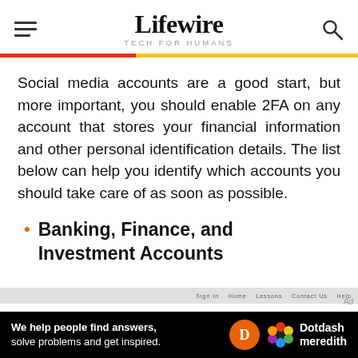Lifewire — TECH FOR HUMANS
Social media accounts are a good start, but more important, you should enable 2FA on any account that stores your financial information and other personal identification details. The list below can help you identify which accounts you should take care of as soon as possible.
Banking, Finance, and Investment Accounts
[Figure (screenshot): Advertisement banner: 'We help people find answers, solve problems and get inspired.' with Dotdash Meredith logo on black background]